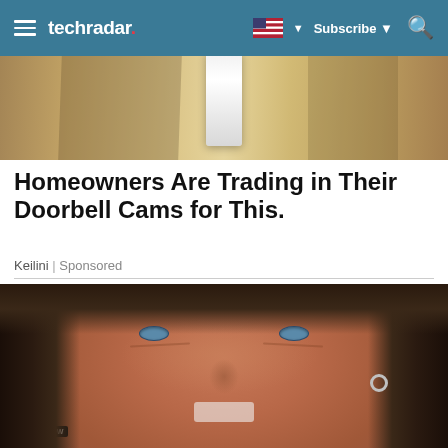techradar — Subscribe
[Figure (photo): Top portion of a doorbell or security camera product image against a sandy/textured wall background]
Homeowners Are Trading in Their Doorbell Cams for This.
Keilini | Sponsored
[Figure (photo): Close-up portrait of a middle-aged man with disheveled brown hair, blue eyes, and hoop earring, smiling]
[Figure (screenshot): NFL Shop advertisement banner: NFL Shop logo, 'Free shipping on orders over $25', 'www.nflshop.com', SHOP NOW button, navigation arrow]